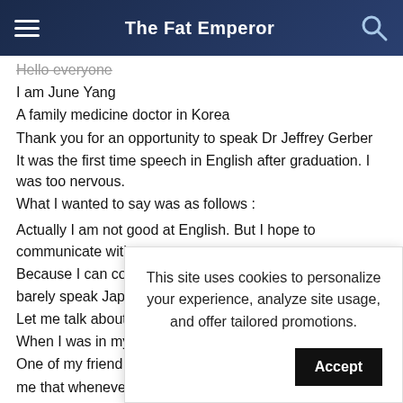The Fat Emperor
Hello everyone
I am June Yang
A family medicine doctor in Korea
Thank you for an opportunity to speak Dr Jeffrey Gerber
It was the first time speech in English after graduation. I was too nervous.
What I wanted to say was as follows :
Actually I am not good at English. But I hope to communicate with you.
Because I can com... barely speak Japa...
Let me talk about...
When I was in my r...
One of my friend w...
me that whenever you don't eat foods your body is being
[Figure (other): Cookie consent overlay with text 'This site uses cookies to personalize your experience, analyze site usage, and offer tailored promotions.' and an Accept button.]